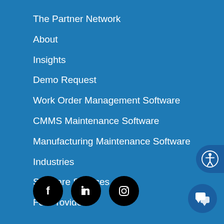The Partner Network
About
Insights
Demo Request
Work Order Management Software
CMMS Maintenance Software
Manufacturing Maintenance Software
Industries
Software Services
For Providers
[Figure (illustration): Accessibility icon button on right side - circle with person silhouette]
[Figure (illustration): Social media icons row: Facebook, LinkedIn, Instagram in black circles]
[Figure (illustration): Chat button in bottom right corner - blue circle with chat bubble icon]